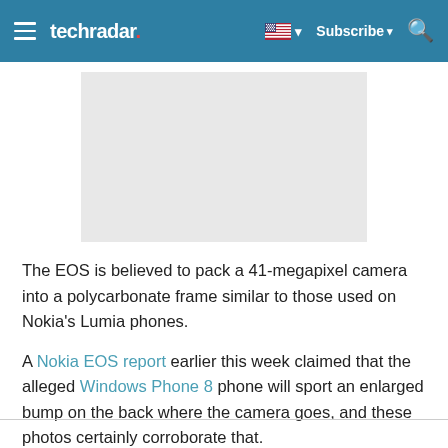techradar | Subscribe | Search
[Figure (photo): Light gray rectangular image placeholder, cropped at top, showing partial image area]
The EOS is believed to pack a 41-megapixel camera into a polycarbonate frame similar to those used on Nokia's Lumia phones.
A Nokia EOS report earlier this week claimed that the alleged Windows Phone 8 phone will sport an enlarged bump on the back where the camera goes, and these photos certainly corroborate that.